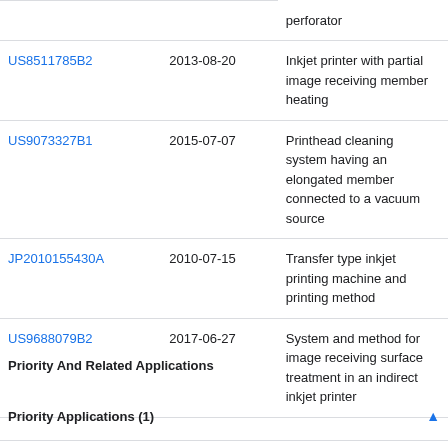| Patent | Date | Title |
| --- | --- | --- |
| [partial row] |  | perforator |
| US8511785B2 | 2013-08-20 | Inkjet printer with partial image receiving member heating |
| US9073327B1 | 2015-07-07 | Printhead cleaning system having an elongated member connected to a vacuum source |
| JP2010155430A | 2010-07-15 | Transfer type inkjet printing machine and printing method |
| US9688079B2 | 2017-06-27 | System and method for image receiving surface treatment in an indirect inkjet printer |
Priority And Related Applications
Priority Applications (1)